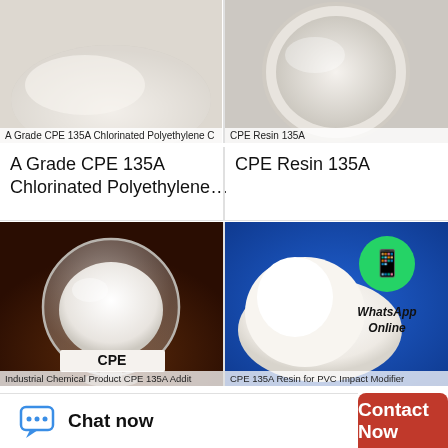[Figure (photo): White powder (CPE 135A Chlorinated Polyethylene) on a surface, top-left product image]
A Grade CPE 135A Chlorinated Polyethylene C
[Figure (photo): White powder (CPE Resin 135A) in a glass dish, top-right product image]
CPE Resin 135A
A Grade CPE 135A Chlorinated Polyethylene…
CPE Resin 135A
[Figure (photo): White powder in a glass bowl on a dark brown surface, label CPE]
Industrial Chemical Product CPE 135A Addit
[Figure (photo): White powder pile on blue background with WhatsApp Online icon overlay]
CPE 135A Resin for PVC Impact Modifier
Chat now
Contact Now